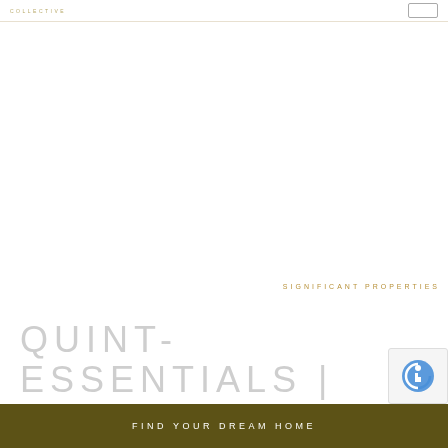COLLECTIVE
SIGNIFICANT PROPERTIES
QUINT-ESSENTIALS | TRY NOT TO STAIR
FIND YOUR DREAM HOME